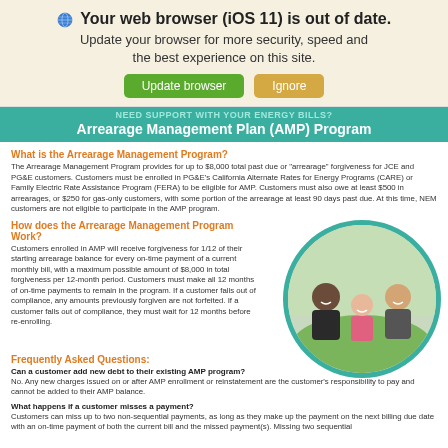Your web browser (iOS 11) is out of date. Update your browser for more security, speed and the best experience on this site.
Update browser | Ignore
Arrearage Management Plan (AMP) Program
What is the Arrearage Management Program?
The Arrearage Management Program provides for up to $8,000 total past due or "arrearage" forgiveness for JCE and PG&E customers. Customers must be enrolled in PG&E's California Alternate Rates for Energy Programs (CARE) or Family Electric Rate Assistance Program (FERA) to be eligible for AMP. Customers must also owe at least $500 in arrearages, or $250 for gas-only customers, with some portion of the arrearage at least 90 days past due. At this time, NEM customers are not eligible to participate in the AMP program.
How does the Arrearage Management Program Work?
Customers enrolled in AMP will receive forgiveness for 1/12 of their starting arrearage balance for every on-time payment of a current monthly bill, with a maximum possible amount of $8,000 in total forgiveness per 12-month period. Customers must make all 12 months of on-time payments to remain in the program. If a customer falls out of compliance, any amounts previously forgiven are not forfeited. If a customer falls out of compliance, they must wait for 12 months before re-enrolling.
[Figure (photo): Family photo of parents and child smiling, shown in a circular frame with teal border]
Frequently Asked Questions:
Can a customer add new debt to their existing AMP program?
No. Any new charges issued on or after AMP enrollment or reinstatement are the customer's responsibility to pay and cannot be added to their AMP balance.
What happens if a customer misses a payment?
Customers can miss up to two non-sequential payments, as long as they make up the payment on the next billing due date with an on-time payment of both the current bill and the missed payment(s). Missing two sequential